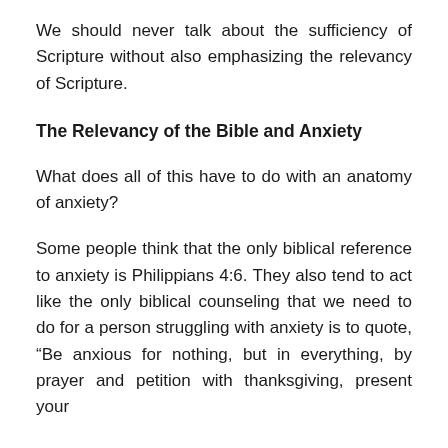We should never talk about the sufficiency of Scripture without also emphasizing the relevancy of Scripture.
The Relevancy of the Bible and Anxiety
What does all of this have to do with an anatomy of anxiety?
Some people think that the only biblical reference to anxiety is Philippians 4:6. They also tend to act like the only biblical counseling that we need to do for a person struggling with anxiety is to quote, “Be anxious for nothing, but in everything, by prayer and petition with thanksgiving, present your